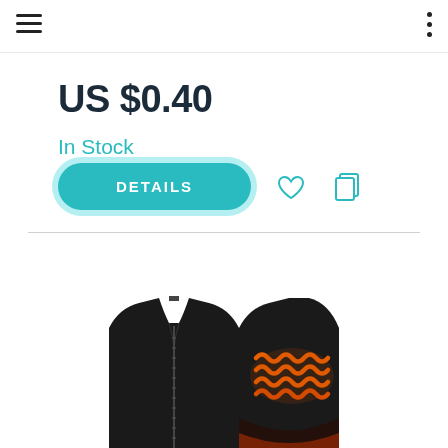[Figure (screenshot): Navigation bar with hamburger menu on left and three-dot menu on right]
US $0.40
In Stock
[Figure (screenshot): DETAILS button (teal/cyan rounded pill button) with heart icon and copy icon to the right]
[Figure (photo): Two black heated vests shown front and back view. The back view shows orange/red wavy heating element pattern on the back panel. Bottom portions visible at the bottom of the page.]